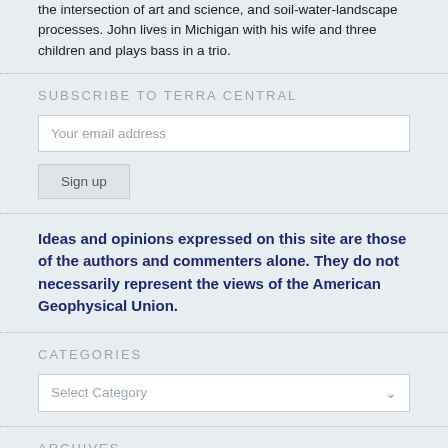the intersection of art and science, and soil-water-landscape processes. John lives in Michigan with his wife and three children and plays bass in a trio.
SUBSCRIBE TO TERRA CENTRAL
Your email address
Sign up
Ideas and opinions expressed on this site are those of the authors and commenters alone. They do not necessarily represent the views of the American Geophysical Union.
CATEGORIES
Select Category
ARCHIVES